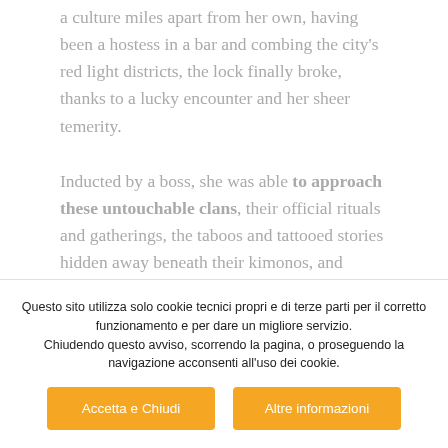a culture miles apart from her own, having been a hostess in a bar and combing the city's red light districts, the lock finally broke, thanks to a lucky encounter and her sheer temerity.
Inducted by a boss, she was able to approach these untouchable clans, their official rituals and gatherings, the taboos and tattooed stories hidden away beneath their kimonos, and through them, their
Questo sito utilizza solo cookie tecnici propri e di terze parti per il corretto funzionamento e per dare un migliore servizio. Chiudendo questo avviso, scorrendo la pagina, o proseguendo la navigazione acconsenti all'uso dei cookie.